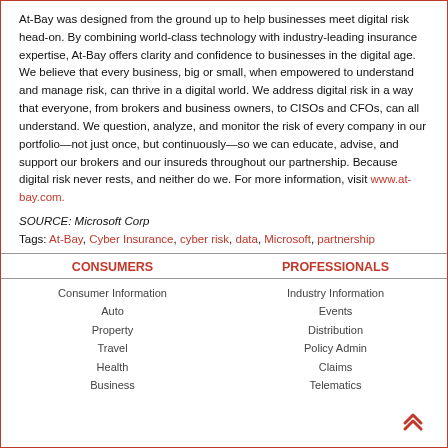At-Bay was designed from the ground up to help businesses meet digital risk head-on. By combining world-class technology with industry-leading insurance expertise, At-Bay offers clarity and confidence to businesses in the digital age. We believe that every business, big or small, when empowered to understand and manage risk, can thrive in a digital world. We address digital risk in a way that everyone, from brokers and business owners, to CISOs and CFOs, can all understand. We question, analyze, and monitor the risk of every company in our portfolio—not just once, but continuously—so we can educate, advise, and support our brokers and our insureds throughout our partnership. Because digital risk never rests, and neither do we. For more information, visit www.at-bay.com.
SOURCE: Microsoft Corp
Tags: At-Bay, Cyber Insurance, cyber risk, data, Microsoft, partnership
CONSUMERS | PROFESSIONALS | Consumer Information | Auto | Property | Travel | Health | Business | Industry Information | Events | Distribution | Policy Admin | Claims | Telematics